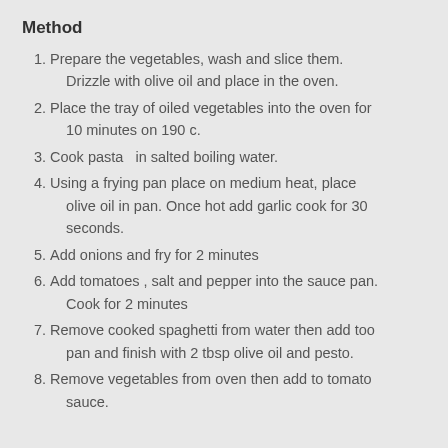Method
Prepare the vegetables, wash and slice them. Drizzle with olive oil and place in the oven.
Place the tray of oiled vegetables into the oven for 10 minutes on 190 c.
Cook pasta  in salted boiling water.
Using a frying pan place on medium heat, place olive oil in pan. Once hot add garlic cook for 30 seconds.
Add onions and fry for 2 minutes
Add tomatoes , salt and pepper into the sauce pan. Cook for 2 minutes
Remove cooked spaghetti from water then add too pan and finish with 2 tbsp olive oil and pesto.
Remove vegetables from oven then add to tomato sauce.